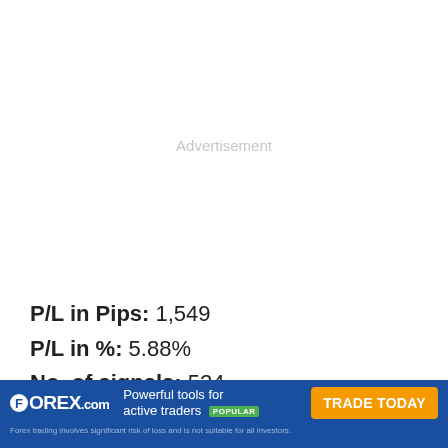[Figure (other): Advertisement placeholder area, blank white with light gray 'Advertisement' watermark text]
P/L in Pips: 1,549
P/L in %: 5.88%
No. of signals: 524
[Figure (other): FOREX.com advertisement banner with blue background. Logo: FOREX.com (F in circle). Tagline: 'Powerful tools for active traders POPULAR'. Orange button: 'TRADE TODAY'. Disclaimer: 'Forex trading involves significant risk of loss and is not suitable for all investors.']